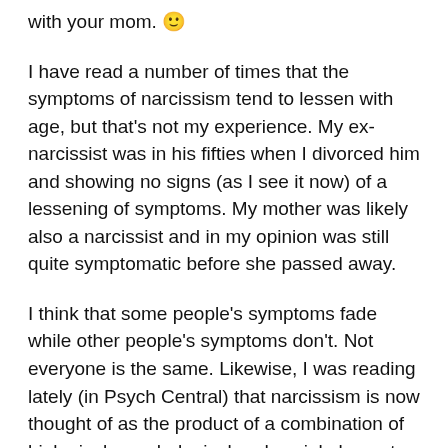with your mom. 🙂
I have read a number of times that the symptoms of narcissism tend to lessen with age, but that's not my experience. My ex-narcissist was in his fifties when I divorced him and showing no signs (as I see it now) of a lessening of symptoms. My mother was likely also a narcissist and in my opinion was still quite symptomatic before she passed away.
I think that some people's symptoms fade while other people's symptoms don't. Not everyone is the same. Likewise, I was reading lately (in Psych Central) that narcissism is now thought of as the product of a combination of biological, psychological and social elements. Makes complete sense to me. The idea that people can become narcissists as the result of one parent's